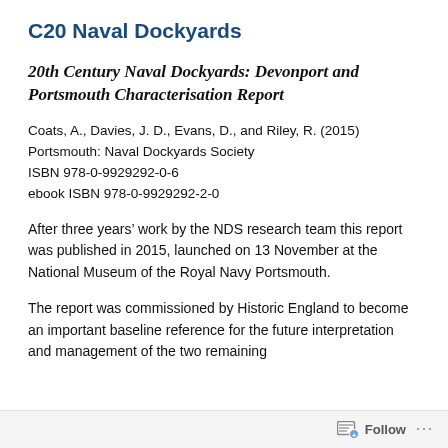C20 Naval Dockyards
20th Century Naval Dockyards: Devonport and Portsmouth Characterisation Report
Coats, A., Davies, J. D., Evans, D., and Riley, R. (2015)
Portsmouth: Naval Dockyards Society
ISBN 978-0-9929292-0-6
ebook ISBN 978-0-9929292-2-0
After three years’ work by the NDS research team this report was published in 2015, launched on 13 November at the National Museum of the Royal Navy Portsmouth.
The report was commissioned by Historic England to become an important baseline reference for the future interpretation and management of the two remaining